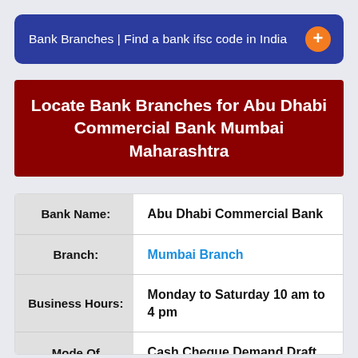Bank Branches | Find a bank ifsc code in India
Locate Bank Branches for Abu Dhabi Commercial Bank Mumbai Maharashtra
| Field | Value |
| --- | --- |
| Bank Name: | Abu Dhabi Commercial Bank |
| Branch: | Mumbai Branch |
| Business Hours: | Monday to Saturday 10 am to 4 pm |
| Mode Of Payment: | Cash,Cheque,Demand Draft and Net banking |